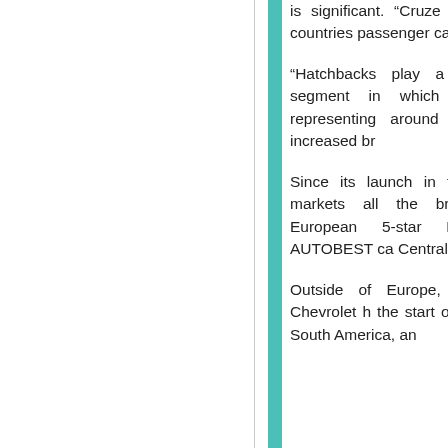is significant. “Cruze is turning selling it in 70 countries passenger car globally.”
“Hatchbacks play a critic total compact segment in which is over a quarte representing around 65% expect to see increased br
Since its launch in the spr welcomed by markets all the brand with customers European 5-star NCAP elected the AUTOBEST ca Central and Eastern Europ
Outside of Europe, Cruze China alone, Chevrolet h the start of the year, whi parts of South America, an